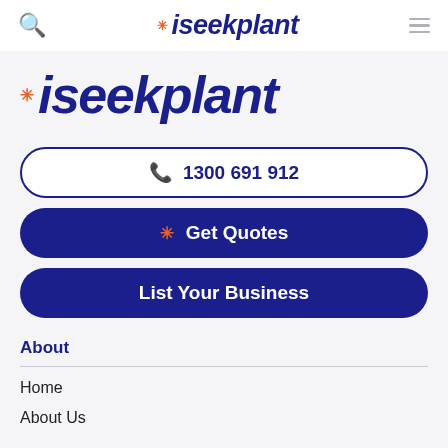iseekplant — navigation bar with search and menu
[Figure (logo): iseekplant logo large, dark navy italic text with orange snowflake star icon]
📞 1300 691 912
Get Quotes
List Your Business
About
Home
About Us